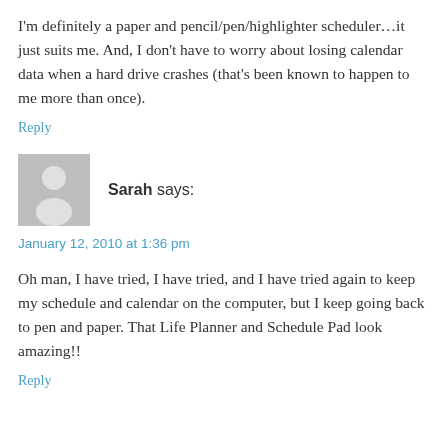I'm definitely a paper and pencil/pen/highlighter scheduler…it just suits me. And, I don't have to worry about losing calendar data when a hard drive crashes (that's been known to happen to me more than once).
Reply
[Figure (illustration): Gray avatar/silhouette icon of a person]
Sarah says:
January 12, 2010 at 1:36 pm
Oh man, I have tried, I have tried, and I have tried again to keep my schedule and calendar on the computer, but I keep going back to pen and paper. That Life Planner and Schedule Pad look amazing!!
Reply